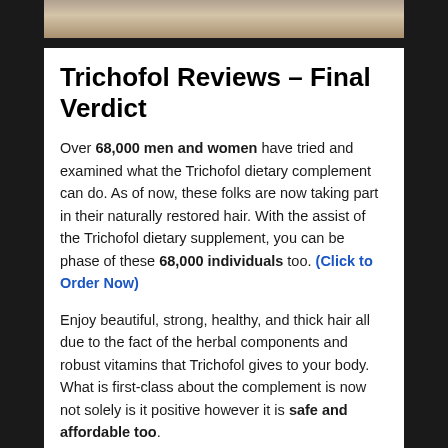[Figure (photo): Partial photo strip at top of page showing people, cropped]
Trichofol Reviews – Final Verdict
Over 68,000 men and women have tried and examined what the Trichofol dietary complement can do. As of now, these folks are now taking part in their naturally restored hair. With the assist of the Trichofol dietary supplement, you can be phase of these 68,000 individuals too. (Click to Order Now)
Enjoy beautiful, strong, healthy, and thick hair all due to the fact of the herbal components and robust vitamins that Trichofol gives to your body. What is first-class about the complement is now not solely is it positive however it is safe and affordable too.